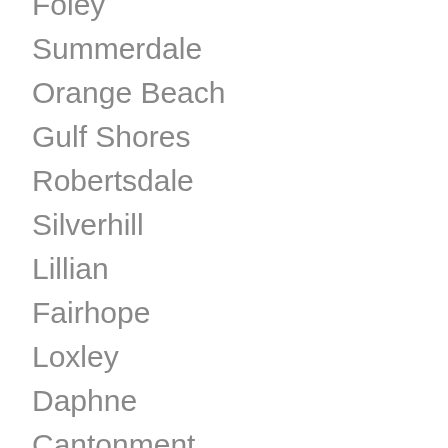Foley
Summerdale
Orange Beach
Gulf Shores
Robertsdale
Silverhill
Lillian
Fairhope
Loxley
Daphne
Cantonment
Spanish Fort
Baldwin County